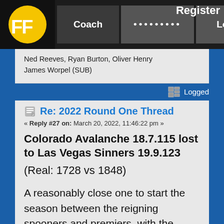FF Coach Login Register
Ned Reeves, Ryan Burton, Oliver Henry
James Worpel (SUB)
Logged
Re: 2022 Round One Thread
« Reply #27 on: March 20, 2022, 11:46:22 pm »
Colorado Avalanche 18.7.115 lost to Las Vegas Sinners 19.9.123
(Real: 1728 vs 1848)
A reasonably close one to start the season between the reigning spooners and premiers, with the favourites getting up less than comfortably, with Petracca's big start a large portion of the difference between the sides. Rowell and Witts brought the